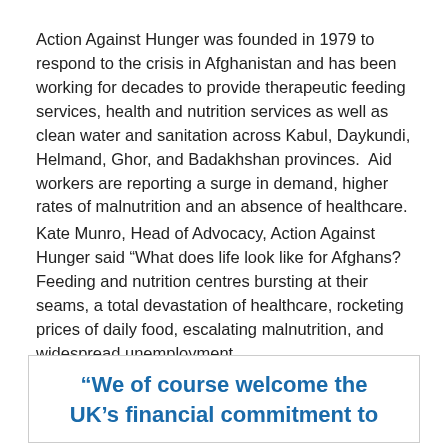Action Against Hunger was founded in 1979 to respond to the crisis in Afghanistan and has been working for decades to provide therapeutic feeding services, health and nutrition services as well as clean water and sanitation across Kabul, Daykundi, Helmand, Ghor, and Badakhshan provinces.  Aid workers are reporting a surge in demand, higher rates of malnutrition and an absence of healthcare.
Kate Munro, Head of Advocacy, Action Against Hunger said “What does life look like for Afghans? Feeding and nutrition centres bursting at their seams, a total devastation of healthcare, rocketing prices of daily food, escalating malnutrition, and widespread unemployment.
“We of course welcome the UK’s financial commitment to